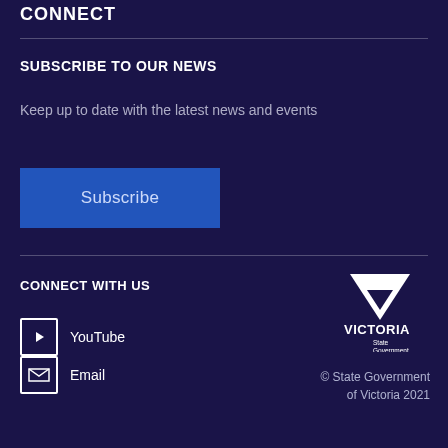CONNECT
SUBSCRIBE TO OUR NEWS
Keep up to date with the latest news and events
Subscribe
CONNECT WITH US
YouTube
Email
[Figure (logo): Victoria State Government logo — inverted triangle above text 'VICTORIA State Government']
© State Government of Victoria 2021